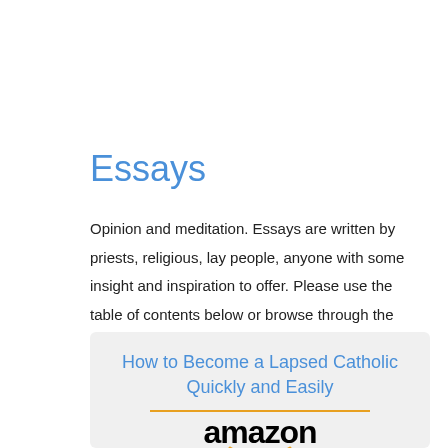Essays
Opinion and meditation. Essays are written by priests, religious, lay people, anyone with some insight and inspiration to offer. Please use the table of contents below or browse through the list farther down to find something interesting.
How to Become a Lapsed Catholic Quickly and Easily
[Figure (logo): Amazon logo with orange smile arrow, preceded by a horizontal orange line]